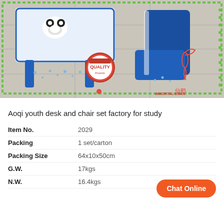[Figure (photo): Product photo of a blue children's youth desk and chair set on a tiled floor, with a green dotted border frame, a 'Best Quality' stamp badge in the center-bottom, and a red crane logo with Chinese characters on the right. Decorative text 'IMMORTAL SWAN' at bottom right.]
Aoqi youth desk and chair set factory for study
| Item No. | 2029 |
| Packing | 1 set/carton |
| Packing Size | 64x10x50cm |
| G.W. | 17kgs |
| N.W. | 16.4kgs |